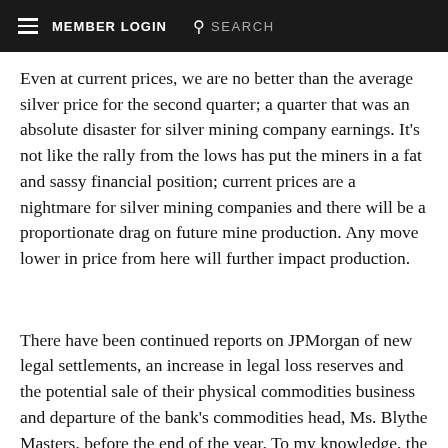MEMBER LOGIN  SEARCH
Even at current prices, we are no better than the average silver price for the second quarter; a quarter that was an absolute disaster for silver mining company earnings. It's not like the rally from the lows has put the miners in a fat and sassy financial position; current prices are a nightmare for silver mining companies and there will be a proportionate drag on future mine production. Any move lower in price from here will further impact production.
There have been continued reports on JPMorgan of new legal settlements, an increase in legal loss reserves and the potential sale of their physical commodities business and departure of the bank's commodities head, Ms. Blythe Masters, before the end of the year. To my knowledge, the bank intends to hold on to its gold/silver operation; but I don't know if that's by choice or because of the potential